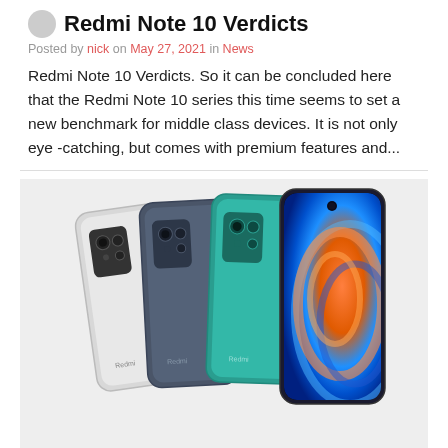Redmi Note 10 Verdicts
Posted by nick on May 27, 2021 in News
Redmi Note 10 Verdicts. So it can be concluded here that the Redmi Note 10 series this time seems to set a new benchmark for middle class devices. It is not only eye -catching, but comes with premium features and...
[Figure (photo): Three Redmi Note 10 smartphones shown from the back in white/silver and teal/green colors, with the fourth phone showing the front screen displaying a colorful swirl wallpaper in blue and orange. The Redmi logo is visible on the backs.]